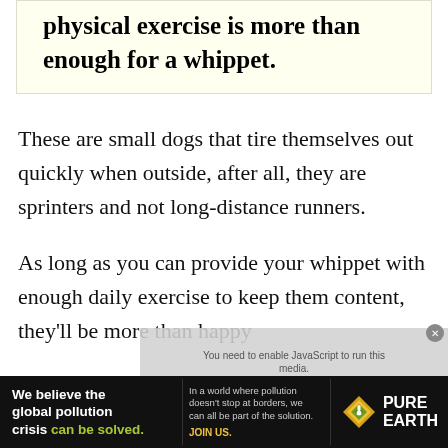physical exercise is more than enough for a whippet.
These are small dogs that tire themselves out quickly when outside, after all, they are sprinters and not long-distance runners.
As long as you can provide your whippet with enough daily exercise to keep them content, they'll be more than happy living with you in an apartment.
[Figure (infographic): Advertisement banner for Pure Earth: 'We believe the global pollution crisis can be solved.' with yellow/green logo and text about pollution not stopping at borders.]